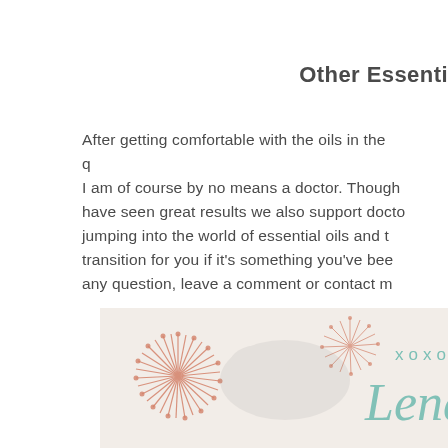Other Essenti
After getting comfortable with the oils in the q
I am of course by no means a doctor. Though have seen great results we also support docto jumping into the world of essential oils and t transition for you if it's something you've bee any question, leave a comment or contact m
[Figure (illustration): Decorative sign-off image with floral/starburst decorations, XOXO text in teal, a PicMonkey watermark, and a cursive script name 'Lena' in teal]